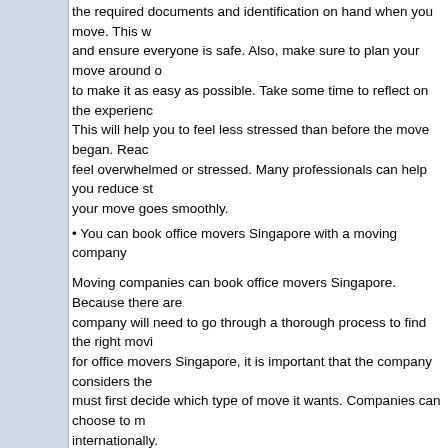You can reduce stress as an office mover Singapore by doing these things: have the required documents and identification on hand when you move. This will help and ensure everyone is safe. Also, make sure to plan your move around o... to make it as easy as possible. Take some time to reflect on the experience. This will help you to feel less stressed than before the move began. Reach... feel overwhelmed or stressed. Many professionals can help you reduce st... your move goes smoothly.
• You can book office movers Singapore with a moving company
Moving companies can book office movers Singapore. Because there are... company will need to go through a thorough process to find the right movi... for office movers Singapore, it is important that the company considers the... must first decide which type of move it wants. Companies can choose to m... internationally.
Different companies may require different types or movers depending on t... office mover would be preferred if the company is moving within Singapore... move to another country, an international mover might be necessary. Once... decision about what type of move it will undertake, they need to hire reput... Singapore. Online research is a great way to find movers for your office. O... way to get an idea of what to look out for when choosing an office movers... the company sets a time frame for their move. They might be left in the da... frame. Different movers may be available at different times. There are seve... companies need to consider when moving offices. First, determine the typ... doing. This can be local, national or international. After deciding on the typ... must find reputable and experienced office movers Singapore. The comp... read reviews to get an idea of what to look out for when choosing an office... unnecessary delays, the company should set a deadline. We are the right... in Singapore.
Why should you trust us?
We have many reasons to be trusted with office relocation in Singapore. O... the field mean that we have the knowledge and expertise to make your mo... possible. Our team of office movers Singapore is professional and highly s... everything runs smoothly from start to finish. We also have many service...